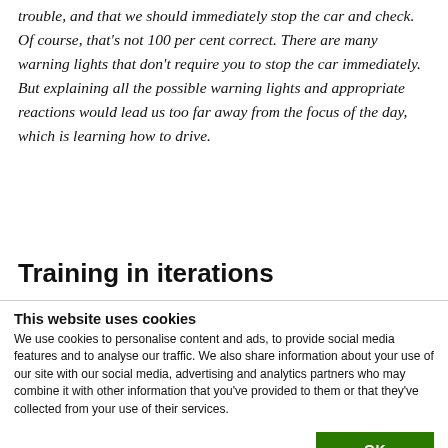trouble, and that we should immediately stop the car and check. Of course, that's not 100 per cent correct. There are many warning lights that don't require you to stop the car immediately. But explaining all the possible warning lights and appropriate reactions would lead us too far away from the focus of the day, which is learning how to drive.
Training in iterations
This website uses cookies
We use cookies to personalise content and ads, to provide social media features and to analyse our traffic. We also share information about your use of our site with our social media, advertising and analytics partners who may combine it with other information that you've provided to them or that they've collected from your use of their services.